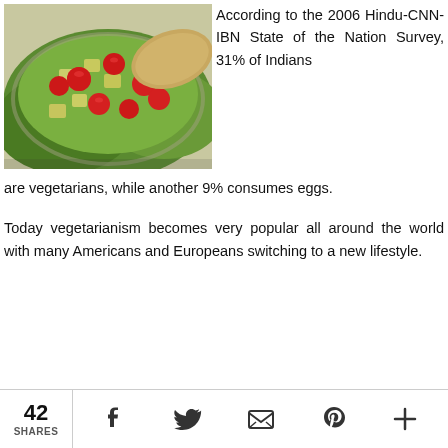[Figure (photo): A glass bowl of fresh vegetable salad with cherry tomatoes, diced cucumber, cheese, and lettuce, with pita bread in the background.]
According to the 2006 Hindu-CNN-IBN State of the Nation Survey, 31% of Indians are vegetarians, while another 9% consumes eggs.
Today vegetarianism becomes very popular all around the world with many Americans and Europeans switching to a new lifestyle.
42 SHARES